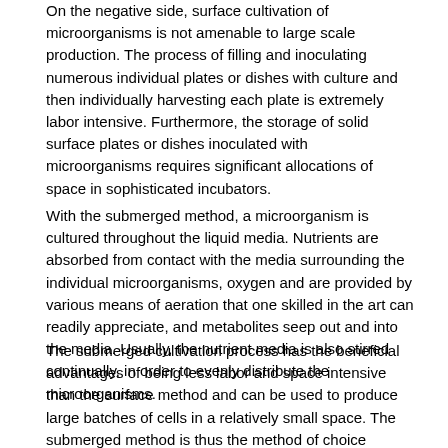On the negative side, surface cultivation of microorganisms is not amenable to large scale production. The process of filling and inoculating numerous individual plates or dishes with culture and then individually harvesting each plate is extremely labor intensive. Furthermore, the storage of solid surface plates or dishes inoculated with microorganisms requires significant allocations of space in sophisticated incubators.
With the submerged method, a microorganism is cultured throughout the liquid media. Nutrients are absorbed from contact with the media surrounding the individual microorganisms, oxygen and are provided by various means of aeration that one skilled in the art can readily appreciate, and metabolites seep out and into the media. Usually, the nutrient media is also stirred continually, in order to evenly distribute the microorganisms.
The submerged cultivation process has the beneficial advantages of being less labor and space intensive than the surface method and can be used to produce large batches of cells in a relatively small space. The submerged method is thus the method of choice currently employed in most pilot and industrial scale production of